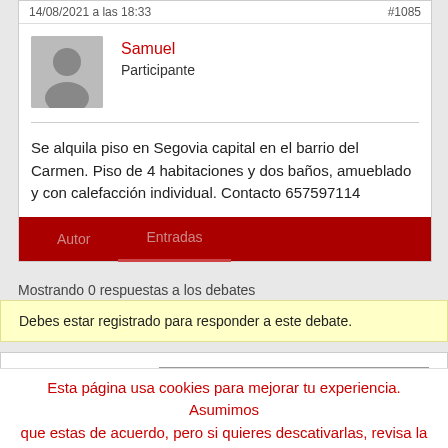14/08/2021 a las 18:33
#1085
Samuel
Participante
Se alquila piso en Segovia capital en el barrio del Carmen. Piso de 4 habitaciones y dos baños, amueblado y con calefacción individual. Contacto 657597114
Autor    Entradas
Mostrando 0 respuestas a los debates
Debes estar registrado para responder a este debate.
Nombre de usuario:
Esta página usa cookies para mejorar tu experiencia. Asumimos que estas de acuerdo, pero si quieres descativarlas, revisa la